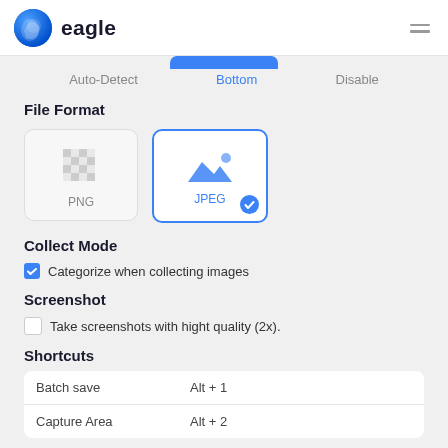eagle
Auto-Detect  Bottom  Disable
File Format
[Figure (screenshot): Two file format cards: PNG (checkerboard icon, unselected) and JPEG (mountain/landscape icon, selected with blue checkmark)]
Collect Mode
Categorize when collecting images
Screenshot
Take screenshots with hight quality (2x).
Shortcuts
|  |  |
| --- | --- |
| Batch save | Alt + 1 |
| Capture Area | Alt + 2 |